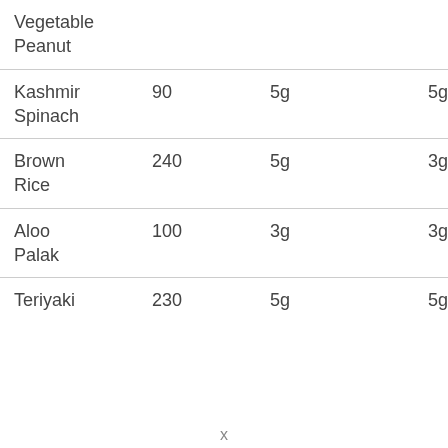| Vegetable Peanut |  |  |  |
| Kashmir Spinach | 90 | 5g | 5g |
| Brown Rice | 240 | 5g | 3g |
| Aloo Palak | 100 | 3g | 3g |
| Teriyaki | 230 | 5g | 5g |